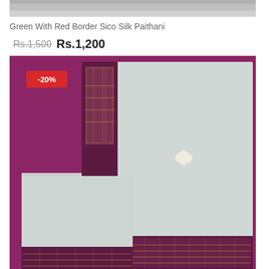[Figure (photo): Top portion of a folded light green/grey Sico Silk Paithani saree with dark maroon/purple border, cropped at top of page]
Green With Red Border Sico Silk Paithani
Rs.1,500 Rs.1,200
[Figure (photo): Folded light green/grey Sico Silk Paithani saree displayed on a purple/magenta background. The saree has a dark maroon/wine border with golden zari weaving. A small embroidered motif is visible on the body of the saree. A red badge in the top-left corner shows '-20%' discount.]